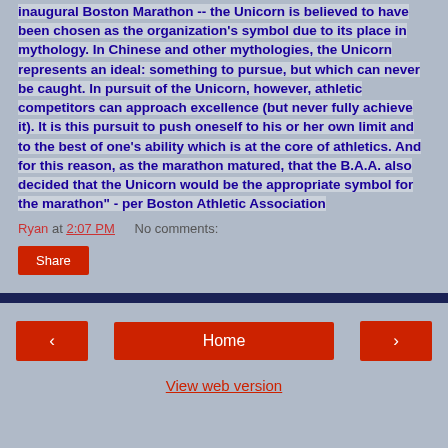inaugural Boston Marathon -- the Unicorn is believed to have been chosen as the organization's symbol due to its place in mythology. In Chinese and other mythologies, the Unicorn represents an ideal: something to pursue, but which can never be caught. In pursuit of the Unicorn, however, athletic competitors can approach excellence (but never fully achieve it). It is this pursuit to push oneself to his or her own limit and to the best of one's ability which is at the core of athletics. And for this reason, as the marathon matured, that the B.A.A. also decided that the Unicorn would be the appropriate symbol for the marathon" - per Boston Athletic Association
Ryan at 2:07 PM    No comments:
Share
Home
View web version